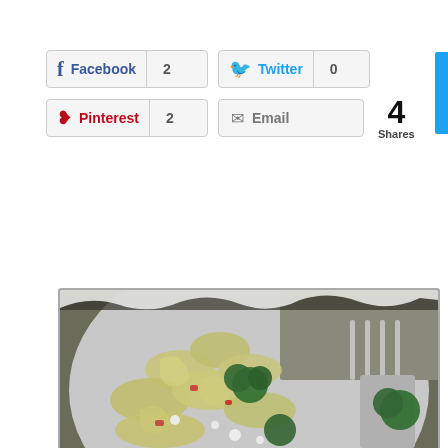[Figure (screenshot): Social sharing buttons: Facebook (2 shares), Twitter (0 shares), Pinterest (2 shares), Email button, and total 4 Shares counter]
[Figure (photo): Close-up photo of fusilli pasta salad with broccoli, red peppers, and feta cheese on a plate with a fork]